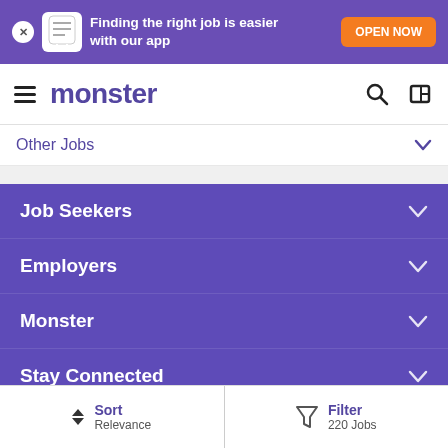[Figure (screenshot): Monster.com mobile app promo banner with mascot, text 'Finding the right job is easier with our app', and orange OPEN NOW button]
monster
Other Jobs
Job Seekers
Employers
Monster
Stay Connected
Legal
Sort Relevance | Filter 220 Jobs